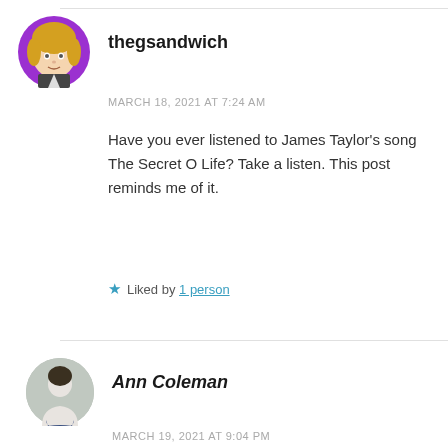[Figure (photo): Circular avatar of a cartoon woman with blonde hair and purple background]
thegsandwich
MARCH 18, 2021 AT 7:24 AM
Have you ever listened to James Taylor's song The Secret O Life? Take a listen. This post reminds me of it.
Liked by 1 person
[Figure (photo): Circular avatar photo of a woman in a white shirt against a grey background]
Ann Coleman
MARCH 19, 2021 AT 9:04 PM